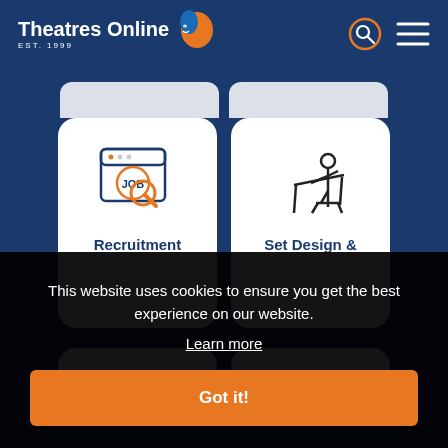[Figure (logo): Theatres Online logo with theatre mask icon, EST. 1999, on dark blue background header with search icon and hamburger menu]
[Figure (illustration): Two white rounded cards on dark blue background: left card has a JOB board/browser icon with magnifying glass labeled Recruitment; right card has a person sitting at a drafting table icon labeled Set Design & Construction (partially visible)]
This website uses cookies to ensure you get the best experience on our website.
Learn more
Got it!